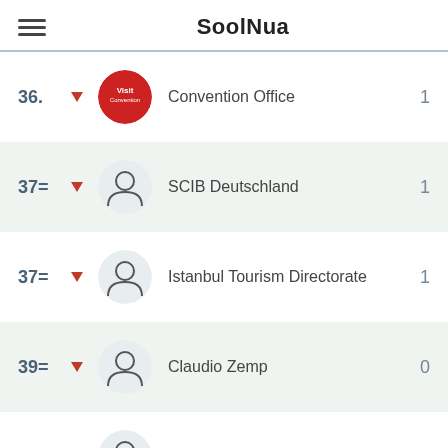SoolNua
36. Convention Office 1
37= SCIB Deutschland 1
37= Istanbul Tourism Directorate 1
39= Claudio Zemp 0
39= Meet In Flanders 0